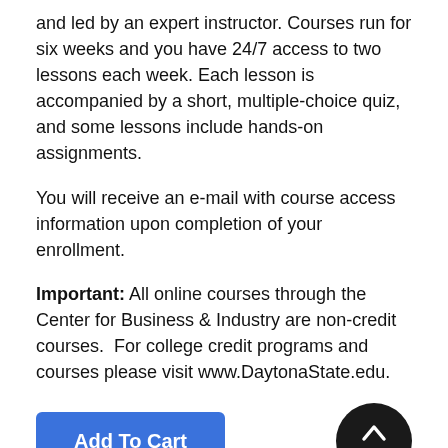and led by an expert instructor. Courses run for six weeks and you have 24/7 access to two lessons each week. Each lesson is accompanied by a short, multiple-choice quiz, and some lessons include hands-on assignments.
You will receive an e-mail with course access information upon completion of your enrollment.
Important: All online courses through the Center for Business & Industry are non-credit courses.  For college credit programs and courses please visit www.DaytonaState.edu.
[Figure (other): Blue 'Add To Cart' button on the left and a dark circular 'TOP' button with an upward chevron arrow on the right.]
Intermediate CSS3 and HTML5
Fee: $115.00